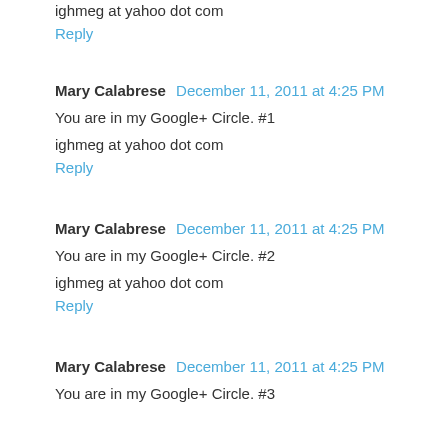ighmeg at yahoo dot com
Reply
Mary Calabrese  December 11, 2011 at 4:25 PM
You are in my Google+ Circle. #1
ighmeg at yahoo dot com
Reply
Mary Calabrese  December 11, 2011 at 4:25 PM
You are in my Google+ Circle. #2
ighmeg at yahoo dot com
Reply
Mary Calabrese  December 11, 2011 at 4:25 PM
You are in my Google+ Circle. #3